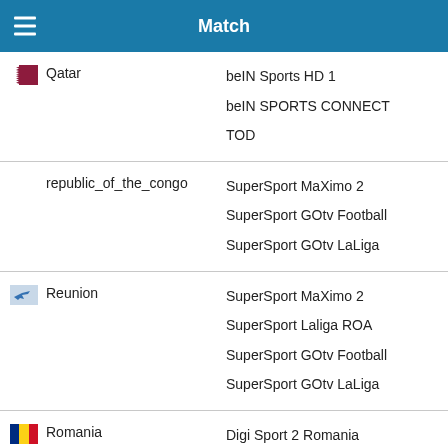Match
| Country | Channels |
| --- | --- |
| Qatar | beIN Sports HD 1 / beIN SPORTS CONNECT / TOD |
| republic_of_the_congo | SuperSport MaXimo 2 / SuperSport GOtv Football / SuperSport GOtv LaLiga |
| Reunion | SuperSport MaXimo 2 / SuperSport Laliga ROA / SuperSport GOtv Football / SuperSport GOtv LaLiga |
| Romania | Digi Sport 2 Romania / Digi Online / Orange TV Go / Orange Sport 4 Romania |